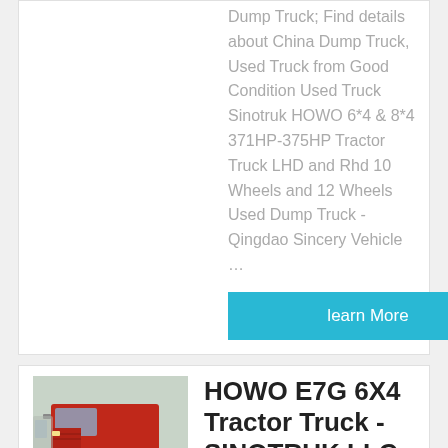Dump Truck; Find details about China Dump Truck, Used Truck from Good Condition Used Truck Sinotruk HOWO 6*4 & 8*4 371HP-375HP Tractor Truck LHD and Rhd 10 Wheels and 12 Wheels Used Dump Truck - Qingdao Sincery Vehicle …
learn More
[Figure (photo): Red HOWO tractor truck parked in a lot with other trucks visible in the background]
HOWO E7G 6X4 Tractor Truck - SINOTRUK LLC
The semi-trailer tractor truck is the commercial vehicle equipped with a